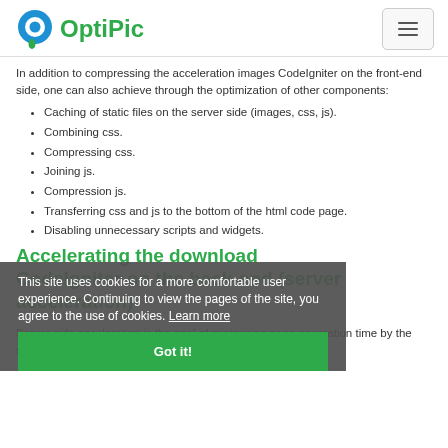[Figure (logo): OptiPic logo with blue/green circle icon and green OptiPic text]
In addition to compressing the acceleration images CodeIgniter on the front-end side, one can also achieve through the optimization of other components:
Caching of static files on the server side (images, css, js).
Combining css.
Compressing css.
Joining js.
Compression js.
Transferring css and js to the bottom of the html code page.
Disabling unnecessary scripts and widgets.
Accelerating the download CodeIgniter on the back-end (server acceleration)
Server-side acceleration is the goal of minimizing page generation time by the server. This is usually promoted by the following
This site uses cookies for a more comfortable user experience. Continuing to view the pages of the site, you agree to the use of cookies. Learn more